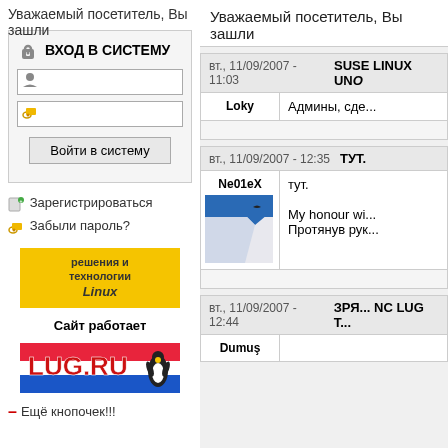Уважаемый посетитель, Вы зашли...
ВХОД В СИСТЕМУ
Войти в систему
Зарегистрироваться
Забыли пароль?
[Figure (other): Решения и технологии Linux banner]
Сайт работает
[Figure (other): LUG.RU banner with Linux penguin]
– Ещё кнопочек!!!
вт., 11/09/2007 - 11:03
SUSE LINUX UNO...
Loky
Админы, сде...
вт., 11/09/2007 - 12:35
ТУТ.
Ne01eX
тут.
My honour wi...
Протянув рук...
вт., 11/09/2007 - 12:44
ЗРЯ... NC LUG T...
Dumuş